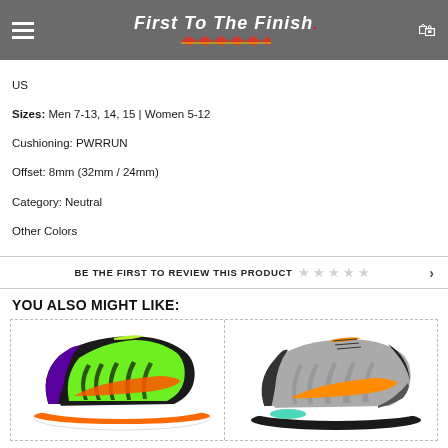First To The Finish
US
Sizes: Men 7-13, 14, 15 | Women 5-12
Cushioning: PWRRUN
Offset: 8mm (32mm / 24mm)
Category: Neutral
Other Colors
BE THE FIRST TO REVIEW THIS PRODUCT ★★★★★ >
YOU ALSO MIGHT LIKE:
[Figure (photo): Saucony running shoe in green, black, purple and orange colorway, side view]
[Figure (photo): Saucony running shoe in grey, black and orange colorway, side view]